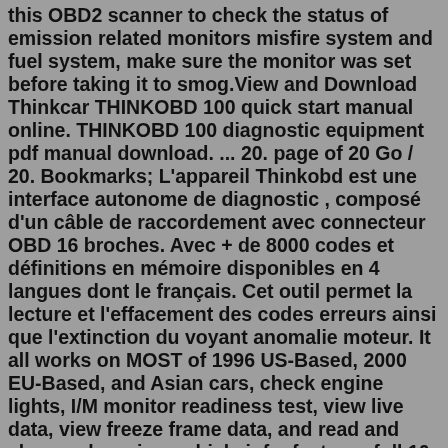this OBD2 scanner to check the status of emission related monitors misfire system and fuel system, make sure the monitor was set before taking it to smog.View and Download Thinkcar THINKOBD 100 quick start manual online. THINKOBD 100 diagnostic equipment pdf manual download. ... 20. page of 20 Go / 20. Bookmarks; L'appareil Thinkobd est une interface autonome de diagnostic , composé d'un câble de raccordement avec connecteur OBD 16 broches. Avec + de 8000 codes et définitions en mémoire disponibles en 4 langues dont le français. Cet outil permet la lecture et l'effacement des codes erreurs ainsi que l'extinction du voyant anomalie moteur. It all works on MOST of 1996 US-Based, 2000 EU-Based, and Asian cars, check engine lights, I/M monitor readiness test, view live data, view freeze frame data, and read and clear codes. view vehicle info. features full 10 modes of OBD2 functions, Read Codes Erase Codes I/M Readiness Data Stream View Freeze Frame O2 Sensor Test, On-Board Monitor TestIntroduce highlight features & overview of